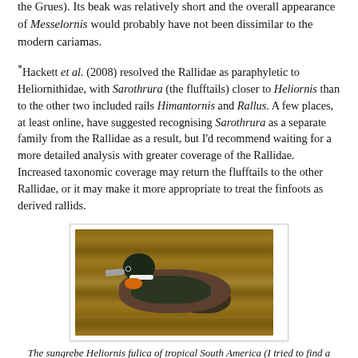the Grues). Its beak was relatively short and the overall appearance of Messelornis would probably have not been dissimilar to the modern cariamas.
*Hackett et al. (2008) resolved the Rallidae as paraphyletic to Heliornithidae, with Sarothrura (the flufftails) closer to Heliornis than to the other two included rails Himantornis and Rallus. A few places, at least online, have suggested recognising Sarothrura as a separate family from the Rallidae as a result, but I'd recommend waiting for a more detailed analysis with greater coverage of the Rallidae. Increased taxonomic coverage may return the flufftails to the other Rallidae, or it may make it more appropriate to treat the finfoots as derived rallids.
[Figure (photo): Photograph of a sungrebe (Heliornis fulica) swimming in brownish water. The bird has a dark greenish-black head and back, orange-yellow throat patch, white stripe on the side of the head, and a greyish beak. The body is brownish.]
The sungrebe Heliornis fulica of tropical South America (I tried to find a picture of one carrying chicks, but no luck)